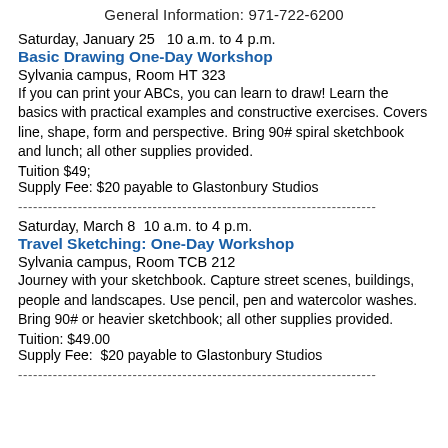General Information: 971-722-6200
Saturday, January 25   10 a.m. to 4 p.m.
Basic Drawing One-Day Workshop
Sylvania campus, Room HT 323
If you can print your ABCs, you can learn to draw! Learn the basics with practical examples and constructive exercises. Covers line, shape, form and perspective. Bring 90# spiral sketchbook and lunch; all other supplies provided.
Tuition $49;
Supply Fee: $20 payable to Glastonbury Studios
Saturday, March 8  10 a.m. to 4 p.m.
Travel Sketching: One-Day Workshop
Sylvania campus, Room TCB 212
Journey with your sketchbook. Capture street scenes, buildings, people and landscapes. Use pencil, pen and watercolor washes. Bring 90# or heavier sketchbook; all other supplies provided.
Tuition: $49.00
Supply Fee:  $20 payable to Glastonbury Studios